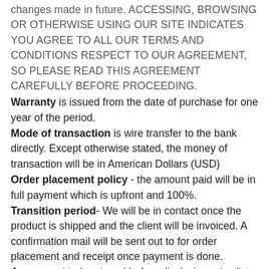changes made in future. ACCESSING, BROWSING OR OTHERWISE USING OUR SITE INDICATES YOU AGREE TO ALL OUR TERMS AND CONDITIONS RESPECT TO OUR AGREEMENT, SO PLEASE READ THIS AGREEMENT CAREFULLY BEFORE PROCEEDING.
Warranty is issued from the date of purchase for one year of the period.
Mode of transaction is wire transfer to the bank directly. Except otherwise stated, the money of transaction will be in American Dollars (USD)
Order placement policy - the amount paid will be in full payment which is upfront and 100%.
Transition period- We will be in contact once the product is shipped and the client will be invoiced. A confirmation mail will be sent out to for order placement and receipt once payment is done.
Agreement to be signed before disclosing price list. We have a non-disclosure and confidential agreement stating that the price list is exclusive for your company and it will not be further circulated by you without our consent.
Change in terms and policies- we thereby have an authority